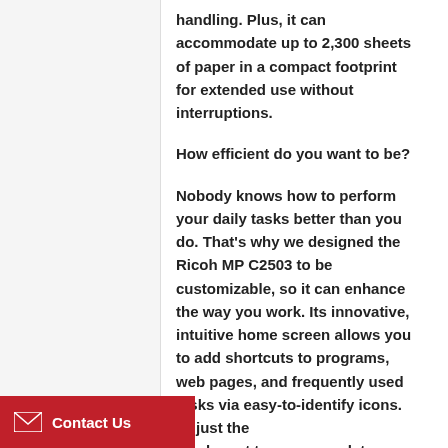handling. Plus, it can accommodate up to 2,300 sheets of paper in a compact footprint for extended use without interruptions.
How efficient do you want to be?
Nobody knows how to perform your daily tasks better than you do. That's why we designed the Ricoh MP C2503 to be customizable, so it can enhance the way you work. Its innovative, intuitive home screen allows you to add shortcuts to programs, web pages, and frequently used tasks via easy-to-identify icons. Adjust the screen layout to accommodate the preferences of every user with the
Contact Us